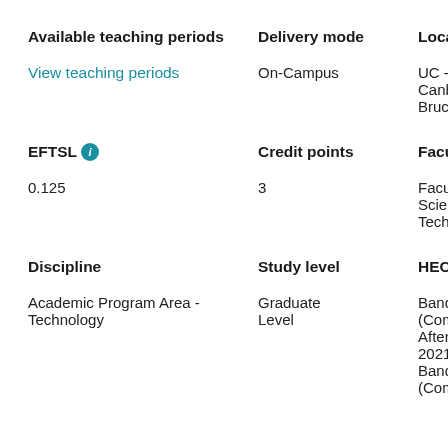| Available teaching periods | Delivery mode | Location |
| --- | --- | --- |
| View teaching periods | On-Campus | UC - Canberra, Bruce |
| EFTSL | Credit points | Faculty |
| --- | --- | --- |
| 0.125 | 3 | Faculty Of Science And Technology |
| Discipline | Study level | HECS Band |
| --- | --- | --- |
| Academic Program Area - Technology | Graduate Level | Band 2 20 (Commencing After 1 Jan 2021)
Band 3 20 (Comm... |